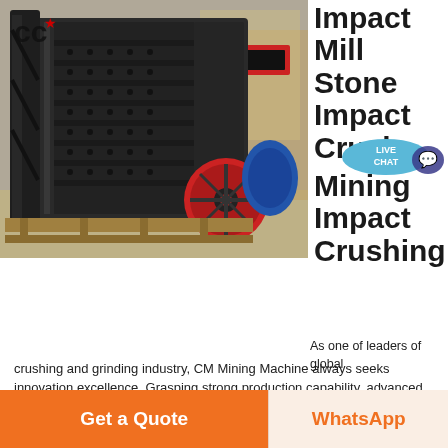[Figure (photo): Large black industrial impact crusher/mill machine in a factory/warehouse setting. The machine is heavy-duty with rectangular body, mounted on wooden pallets, with a red circular wheel/flywheel visible on the right side. A blue motor is visible behind. CE certification logo visible top-left of image.]
Impact Mill Stone Impact Crusher Mining Impact Crushing
[Figure (other): Live Chat speech bubble icon in teal/blue with text LIVE CHAT]
As one of leaders of global crushing and grinding industry, CM Mining Machine always seeks innovation excellence. Grasping strong production capability, advanced research strength and excellent service, CM Mining Machine create the value and bring values to all of customers. Our #1 goal is making the customer more productive and profitable
Get Price
Get a Quote
WhatsApp